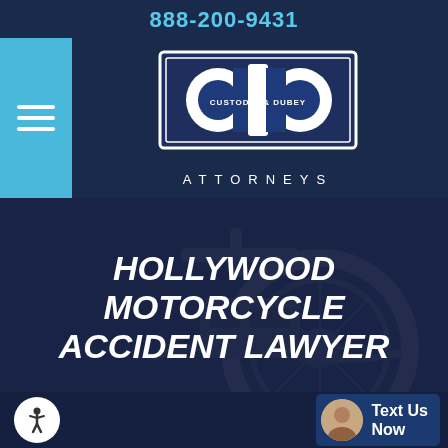888-200-9431
[Figure (logo): Custodio & Dubey Attorneys logo — interlocking CD letters in white on dark blue square background with white border, text CUSTODIO & DUBEY below letters, ATTORNEYS text beneath logo]
HOLLYWOOD MOTORCYCLE ACCIDENT LAWYER
[Figure (photo): Close-up photo of motorcycle parts (wheel, handlebars, engine) with dark blue overlay tint]
Text Us Now